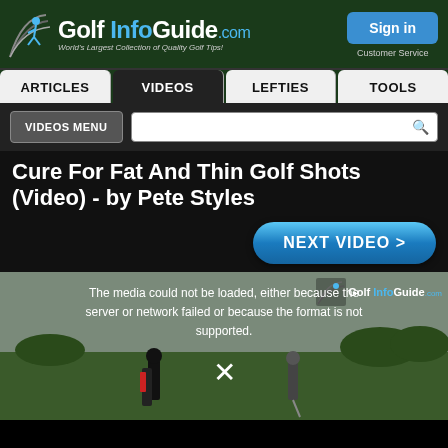[Figure (logo): Golf Info Guide .com logo with golfer icon and tagline 'World's Largest Collection of Quality Golf Tips!']
[Figure (screenshot): Sign in button (blue) and Customer Service text in top right header]
ARTICLES | VIDEOS | LEFTIES | TOOLS
VIDEOS MENU
Cure For Fat And Thin Golf Shots (Video) - by Pete Styles
NEXT VIDEO >
[Figure (screenshot): Video player showing error message: 'The media could not be loaded, either because the server or network failed or because the format is not supported.' with an X symbol and golf course background with two people.]